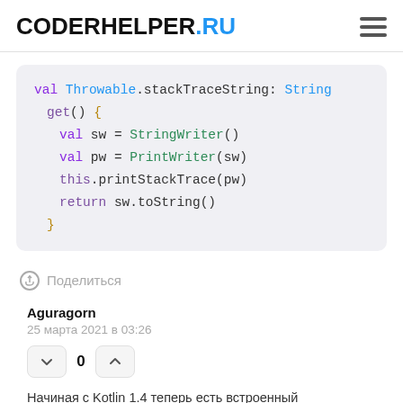CODERHELPER.RU
[Figure (screenshot): Kotlin code snippet showing val Throwable.stackTraceString: String get() { val sw = StringWriter() val pw = PrintWriter(sw) this.printStackTrace(pw) return sw.toString() }]
Поделиться
Aguragorn
25 марта 2021 в 03:26
0
Начиная с Kotlin 1.4 теперь есть встроенный